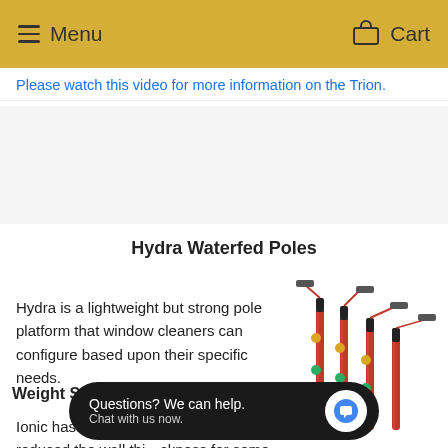Menu   Cart
Please watch this video for more information on the Trion.
[Figure (other): Video placeholder area (empty/white)]
Hydra Waterfed Poles
Hydra is a lightweight but strong pole platform that window cleaners can configure based upon their specific needs.
Weight Savings
[Figure (photo): Multiple Hydra waterfed poles standing upright, red and black with brush heads, displayed against white background]
Ionic has really f... reduction and have reduced the wall thickness for some locations
[Figure (other): Chat widget overlay: 'Questions? We can help. Chat with us now.' with chat bubble icon]